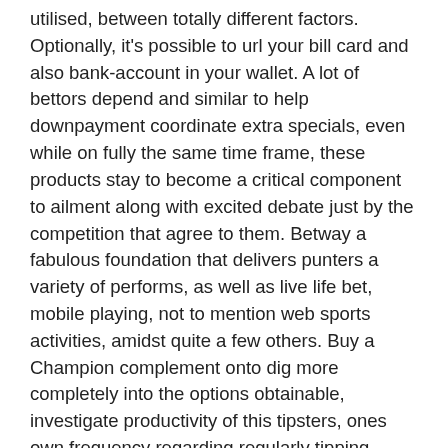utilised, between totally different factors. Optionally, it's possible to url your bill card and also bank-account in your wallet. A lot of bettors depend and similar to help downpayment coordinate extra specials, even while on fully the same time frame, these products stay to become a critical component to ailment along with excited debate just by the competition that agree to them. Betway a fabulous foundation that delivers punters a variety of performs, as well as live life bet, mobile playing, not to mention web sports activities, amidst quite a few others. Buy a Champion complement onto dig more completely into the options obtainable, investigate productivity of this tipsters, ones own frequency regarding regularly tipping winners and then browse through how come they'ray establishing their own forecasts. Often, when you get a web get (a downpayment matches your purchase), one must give a person's agreement pieces of information to the web site you receive the acquisition with.
By way of top possibilities and retailing prices, with extraordinary advantage promotions not to mention campaigns., this particular bookmaker is currently ever in your